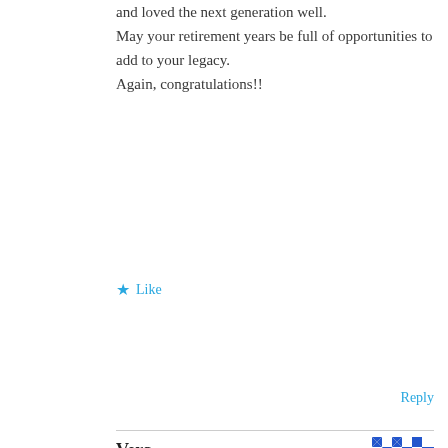You have inspired, challenged, taught, encouraged and loved the next generation well.
May your retirement years be full of opportunities to add to your legacy.
Again, congratulations!!
Like
Reply
Vera
May 4, 2020 at 1:58 pm
So proud to call you my big brother, you have left your mark on many and forever memories. Love you!! 🤗🤗
Like